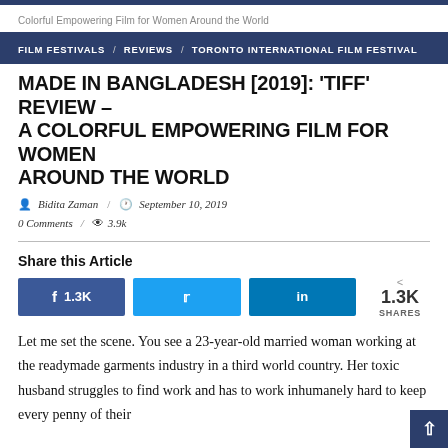Colorful Empowering Film for Women Around the World
FILM FESTIVALS / REVIEWS / TORONTO INTERNATIONAL FILM FESTIVAL
MADE IN BANGLADESH [2019]: 'TIFF' REVIEW – A COLORFUL EMPOWERING FILM FOR WOMEN AROUND THE WORLD
Bidita Zaman / September 10, 2019
0 Comments / 3.9k
Share this Article
[Figure (infographic): Social share buttons: Facebook 1.3K, Twitter, LinkedIn, and 1.3K SHARES counter]
Let me set the scene. You see a 23-year-old married woman working at the readymade garments industry in a third world country. Her toxic husband struggles to find work and has to work inhumanely hard to keep every penny of their